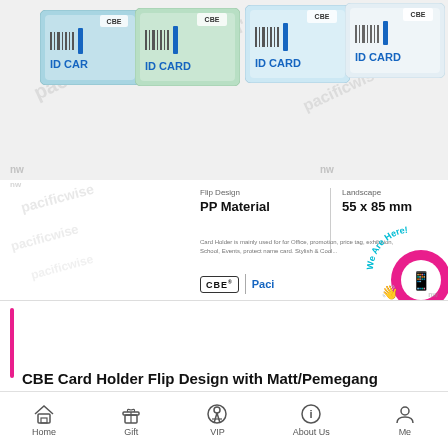[Figure (photo): Product photo of CBE ID Card Holders in multiple colors (blue, mint, light blue, white) arranged fanned out. Below the cards: product specs showing Flip Design, PP Material, Landscape, 55x85mm, card holder description text, CBE and Pacificwise logos, and a WhatsApp 'We Are Here!' overlay button. Background has pacificwise watermarks.]
CBE Card Holder Flip Design with Matt/Pemegang
Home | Gift | VIP | About Us | Me